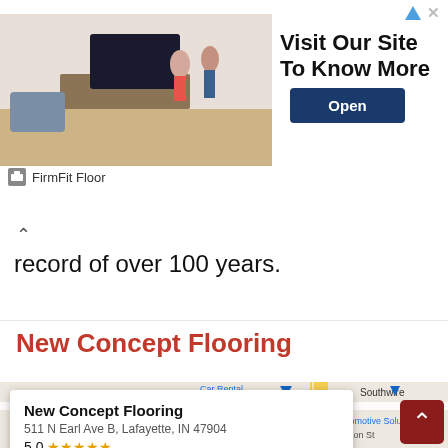[Figure (screenshot): Advertisement banner for FirmFit Floor with living room image, text 'Visit Our Site To Know More', and an 'Open' button]
record of over 100 years.
New Concept Flooring
[Figure (map): Google Maps embed showing New Concept Flooring at 511 N Earl Ave B, Lafayette, IN 47904, rated 5.0 stars, with nearby landmarks including Midas, Automotive Solutions, Fast Eddie's Lube & Wash, Fresh Factory, La Tapatia. Streets visible: 30th St, 31st St, Cincinnati St, Union St.]